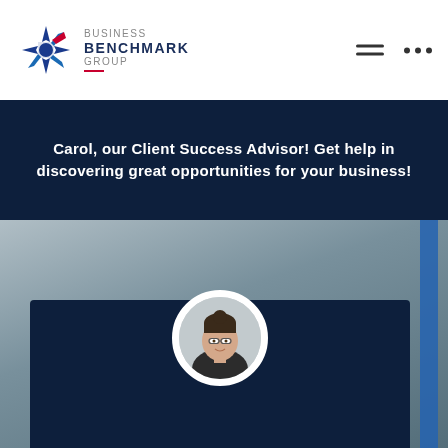[Figure (logo): Business Benchmark Group logo with star/snowflake icon in blue and red, text: BUSINESS BENCHMARK GROUP]
Carol, our Client Success Advisor! Get help in discovering great opportunities for your business!
[Figure (photo): Blurred background photo with a dark navy card overlay containing a circular profile photo of a woman (Carol) wearing glasses and dark clothing]